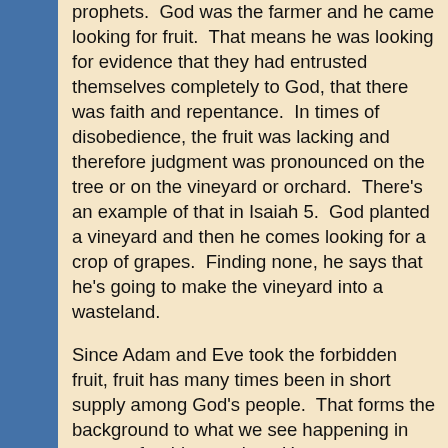prophets.  God was the farmer and he came looking for fruit.  That means he was looking for evidence that they had entrusted themselves completely to God, that there was faith and repentance.  In times of disobedience, the fruit was lacking and therefore judgment was pronounced on the tree or on the vineyard or orchard.  There's an example of that in Isaiah 5.  God planted a vineyard and then he comes looking for a crop of grapes.  Finding none, he says that he's going to make the vineyard into a wasteland.
Since Adam and Eve took the forbidden fruit, fruit has many times been in short supply among God's people.  That forms the background to what we see happening in our text for this morning.  Here we see our Lord Jesus at Jerusalem in the final week before his death.  Christ is portrayed here as the prophet coming to bring words of warning to